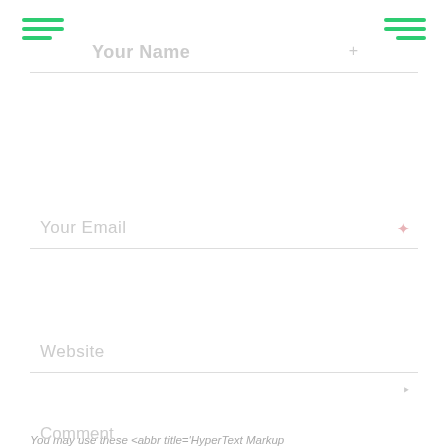[Figure (other): Green hamburger menu icon on the left side]
Your Name
[Figure (other): Green hamburger menu icon on the right side]
Your Email
Website
Comment
You may use these <abbr title='HyperText Markup...